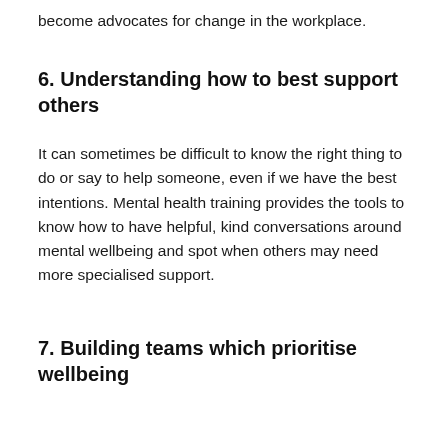become advocates for change in the workplace.
6. Understanding how to best support others
It can sometimes be difficult to know the right thing to do or say to help someone, even if we have the best intentions. Mental health training provides the tools to know how to have helpful, kind conversations around mental wellbeing and spot when others may need more specialised support.
7. Building teams which prioritise wellbeing